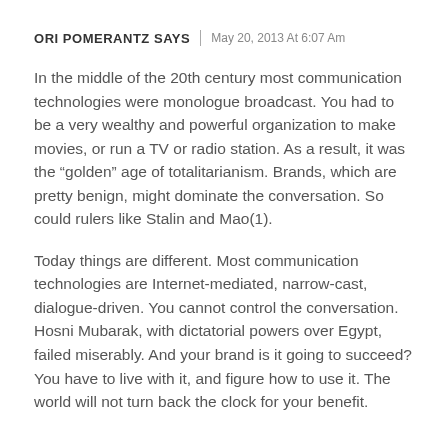ORI POMERANTZ SAYS | May 20, 2013 At 6:07 Am
In the middle of the 20th century most communication technologies were monologue broadcast. You had to be a very wealthy and powerful organization to make movies, or run a TV or radio station. As a result, it was the “golden” age of totalitarianism. Brands, which are pretty benign, might dominate the conversation. So could rulers like Stalin and Mao(1).
Today things are different. Most communication technologies are Internet-mediated, narrow-cast, dialogue-driven. You cannot control the conversation. Hosni Mubarak, with dictatorial powers over Egypt, failed miserably. And your brand is it going to succeed? You have to live with it, and figure how to use it. The world will not turn back the clock for your benefit.